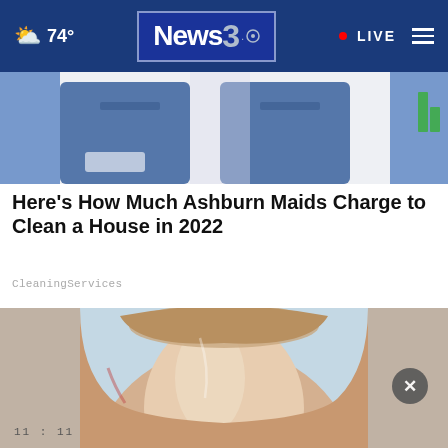74° News3. • LIVE
[Figure (photo): Person wearing blue uniform shirt, upper body visible, news/TV website context]
Here's How Much Ashburn Maids Charge to Clean a House in 2022
CleaningServices
[Figure (photo): Close-up macro photo of a human fingernail/toenail with surrounding skin, light blue background]
11 : 11